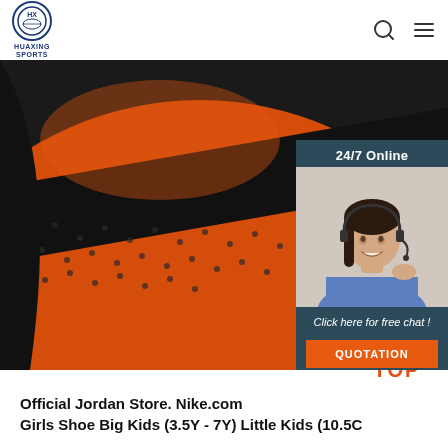HUAXING SPORTS
[Figure (photo): Close-up photo of a basketball showing orange surface with black seams/mesh texture. An advertisement overlay appears on the right side showing a customer service representative with headset, '24/7 Online' text, 'Click here for free chat!' and a QUOTATION button in orange.]
[Figure (other): TOP navigation button with orange dots arranged in an arc and orange bold text reading TOP]
Official Jordan Store. Nike.com
Girls Shoe Big Kids (3.5Y - 7Y) Little Kids (10.5C